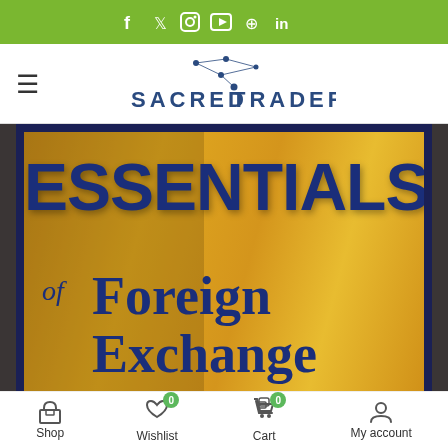f  🐦  ○  ▶  ⊕  in  (social media icons bar)
[Figure (logo): Sacred Traders logo with network graph icon and text 'SACRED TRADERS' in blue uppercase letters]
[Figure (photo): Book cover showing 'ESSENTIALS of Foreign Exchange' text on a golden/yellow background with dark blue navy border, partially cropped]
Shop  Wishlist 0  Cart 0  My account